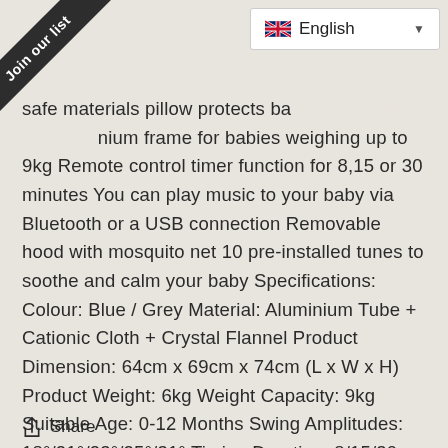Join our list
English
safe materials pillow protects baby nium frame for babies weighing up to 9kg Remote control timer function for 8,15 or 30 minutes You can play music to your baby via Bluetooth or a USB connection Removable hood with mosquito net 10 pre-installed tunes to soothe and calm your baby Specifications: Colour: Blue / Grey Material: Aluminium Tube + Cationic Cloth + Crystal Flannel Product Dimension: 64cm x 69cm x 74cm (L x W x H) Product Weight: 6kg Weight Capacity: 9kg Suitable Age: 0-12 Months Swing Amplitudes: 18°/21°/23°/25°/31° Timing Duration: 8/15/30 Minutes Package includes: 1 x Electric Baby Rocker Bouncer Chair 2 x Toy 1 x Adapter 1 x Instruction Manual
Share